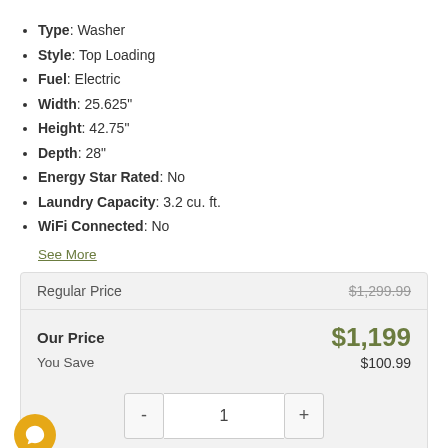Type: Washer
Style: Top Loading
Fuel: Electric
Width: 25.625"
Height: 42.75"
Depth: 28"
Energy Star Rated: No
Laundry Capacity: 3.2 cu. ft.
WiFi Connected: No
See More
|  |  |
| --- | --- |
| Regular Price | $1,299.99 |
| Our Price | $1,199 |
| You Save | $100.99 |